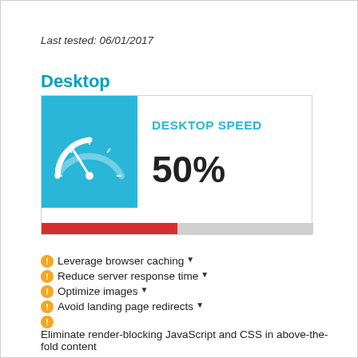Last tested: 06/01/2017
Desktop
[Figure (infographic): Desktop speed card showing a speedometer gauge icon on blue background, 'DESKTOP SPEED' label, '50%' value, and a red/grey progress bar at 50%]
Leverage browser caching ▼
Reduce server response time ▼
Optimize images ▼
Avoid landing page redirects ▼
Eliminate render-blocking JavaScript and CSS in above-the-fold content ▼
Enable compression ▼